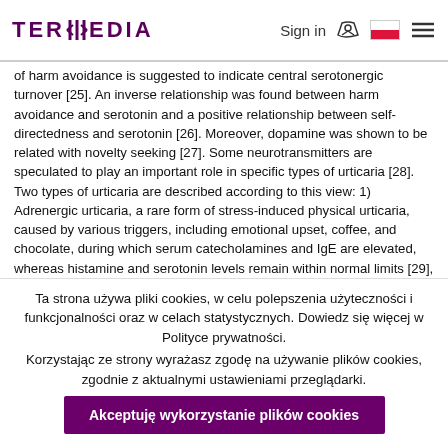TERMEDIA | Sign in | [cart] [PL flag] [menu]
of harm avoidance is suggested to indicate central serotonergic turnover [25]. An inverse relationship was found between harm avoidance and serotonin and a positive relationship between self-directedness and serotonin [26]. Moreover, dopamine was shown to be related with novelty seeking [27]. Some neurotransmitters are speculated to play an important role in specific types of urticaria [28]. Two types of urticaria are described according to this view: 1) Adrenergic urticaria, a rare form of stress-induced physical urticaria, caused by various triggers, including emotional upset, coffee, and chocolate, during which serum catecholamines and IgE are elevated, whereas histamine and serotonin levels remain within normal limits [29], 2) Cholinergic urticaria, which is associated with nicotine, acetylcholine, or methacholine [30]. In this respect, neurotransmitter alterations may explain the relationship between personality dimensions and CIU. In this study we found that duration of the disease, urticaria, and pruritus severity and frequency of attacks weak correlated with certain personality traits. Thus our results may contribute to the literature revealing that psychological factors play an important role
Ta strona używa pliki cookies, w celu polepszenia użyteczności i funkcjonalności oraz w celach statystycznych. Dowiedz się więcej w Polityce prywatności.
Korzystając ze strony wyrażasz zgodę na używanie plików cookies, zgodnie z aktualnymi ustawieniami przeglądarki.
Akceptuję wykorzystanie plików cookies